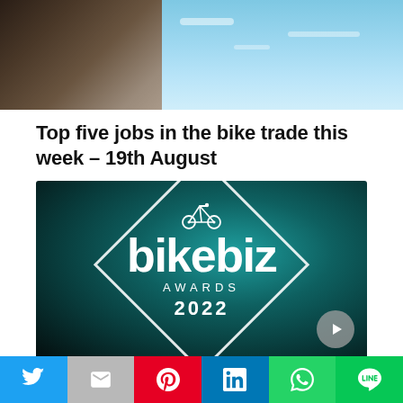[Figure (photo): Top portion of a signpost against a blue sky with clouds]
Top five jobs in the bike trade this week – 19th August
[Figure (logo): Bikebiz Awards 2022 logo — white diamond shape with bicycle icon, 'bikebiz' in large bold white text, 'AWARDS' and '2022' below, on a dark teal/green background. A play button triangle is visible in the bottom right corner.]
Twitter | Gmail | Pinterest | LinkedIn | WhatsApp | Line